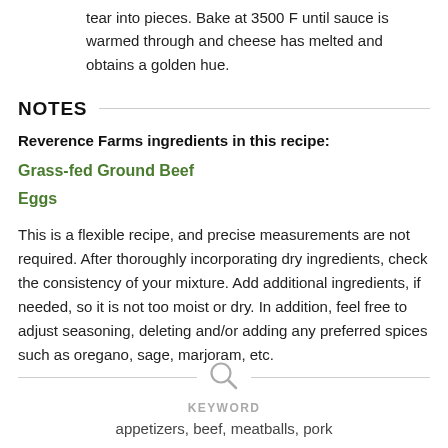tear into pieces. Bake at 3500 F until sauce is warmed through and cheese has melted and obtains a golden hue.
NOTES
Reverence Farms ingredients in this recipe:
Grass-fed Ground Beef
Eggs
This is a flexible recipe, and precise measurements are not required. After thoroughly incorporating dry ingredients, check the consistency of your mixture. Add additional ingredients, if needed, so it is not too moist or dry. In addition, feel free to adjust seasoning, deleting and/or adding any preferred spices such as oregano, sage, marjoram, etc.
KEYWORD
appetizers, beef, meatballs, pork